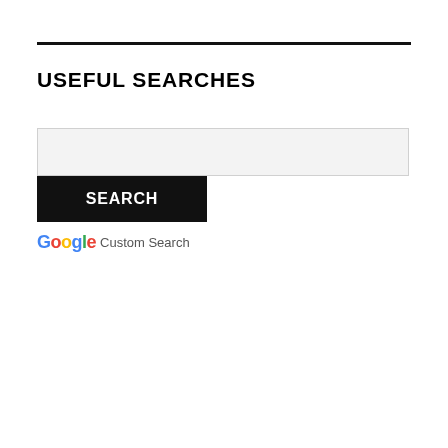USEFUL SEARCHES
[Figure (screenshot): Google Custom Search widget with a search input box, a black SEARCH button, and a Google Custom Search branding label below]